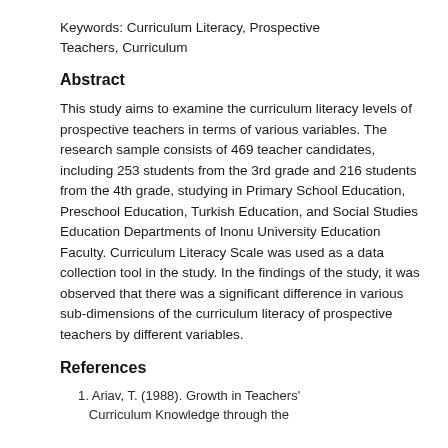Keywords: Curriculum Literacy, Prospective Teachers, Curriculum
Abstract
This study aims to examine the curriculum literacy levels of prospective teachers in terms of various variables. The research sample consists of 469 teacher candidates, including 253 students from the 3rd grade and 216 students from the 4th grade, studying in Primary School Education, Preschool Education, Turkish Education, and Social Studies Education Departments of Inonu University Education Faculty. Curriculum Literacy Scale was used as a data collection tool in the study. In the findings of the study, it was observed that there was a significant difference in various sub-dimensions of the curriculum literacy of prospective teachers by different variables.
References
1. Ariav, T. (1988). Growth in Teachers' Curriculum Knowledge through the